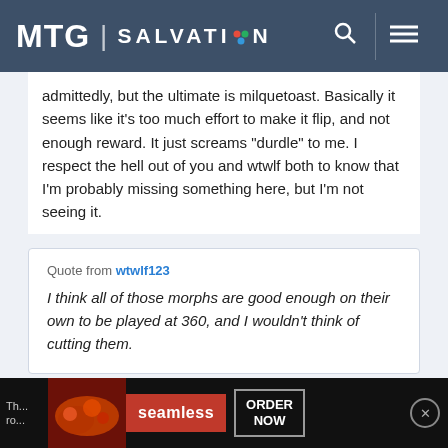MTG SALVATION
admittedly, but the ultimate is milquetoast. Basically it seems like it's too much effort to make it flip, and not enough reward. It just screams "durdle" to me. I respect the hell out of you and wtwlf both to know that I'm probably missing something here, but I'm not seeing it.
Quote from wtwlf123
I think all of those morphs are good enough on their own to be played at 360, and I wouldn't think of cutting them.
[Figure (screenshot): Advertisement banner for Seamless food delivery with pizza image, Seamless logo, and ORDER NOW button]